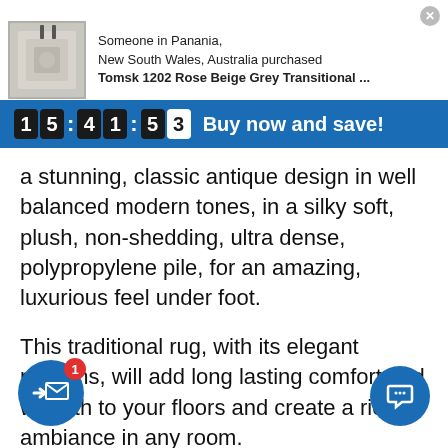[Figure (screenshot): E-commerce purchase notification popup showing a rug product image on the left and purchase details on the right. Close button (X) in top-right corner. Text reads: Someone in Panania, New South Wales, Australia purchased Tomsk 1202 Rose Beige Grey Transitional ...]
Someone in Panania,
New South Wales, Australia purchased
Tomsk 1202 Rose Beige Grey Transitional ...
15:41:53 Buy now and save!
a stunning, classic antique design in well balanced modern tones, in a silky soft, plush, non-shedding, ultra dense, polypropylene pile, for an amazing, luxurious feel under foot.
This traditional rug, with its elegant patterns, will add long lasting comfort and warmth to your floors and create a rich ambiance in any room.
Bring classic styling into your home or office today is beautiful, durable and low enance traditional rug.